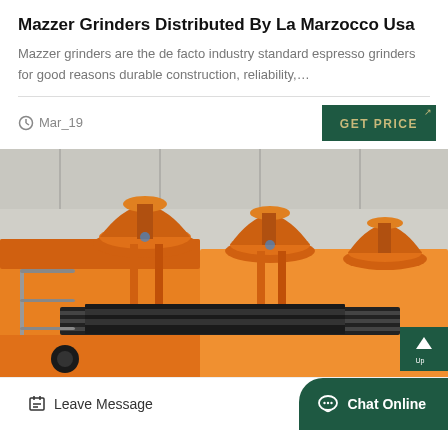Mazzer Grinders Distributed By La Marzocco Usa
Mazzer grinders are the de facto industry standard espresso grinders for good reasons durable construction, reliability,…
Mar_19
[Figure (photo): Industrial orange-colored grinding/flotation machines in a large factory hall, showing multiple cone-shaped grinder units on a conveyor system.]
Leave Message
Chat Online